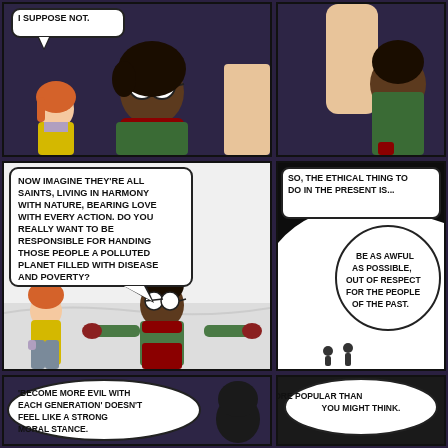[Figure (illustration): Comic strip page with 6 panels. Top-left panel: dark purple background, a pale-skinned redhead girl and a dark-skinned woman with circular glasses and green jacket/red scarf. Speech bubble: 'I SUPPOSE NOT.' Top-right panel: same characters from behind, partial view. Middle-left panel: white snowy background, the woman gesturing with arms wide and the girl watching, large speech bubble with text about imagining future saints. Middle-right panel: dark background, caption about ethical thing to do, oval speech bubble saying 'BE AS AWFUL AS POSSIBLE, OUT OF RESPECT FOR THE PEOPLE OF THE PAST.' Bottom-left panel: speech bubble 'BECOME MORE EVIL WITH EACH GENERATION DOESN'T FEEL LIKE A STRONG MORAL STANCE.' Bottom-right panel: dark background, speech bubble 'IT'S MORE POPULAR THAN YOU MIGHT THINK.']